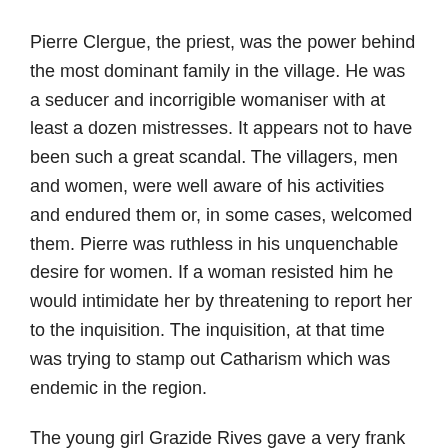Pierre Clergue, the priest, was the power behind the most dominant family in the village. He was a seducer and incorrigible womaniser with at least a dozen mistresses. It appears not to have been such a great scandal. The villagers, men and women, were well aware of his activities and endured them or, in some cases, welcomed them. Pierre was ruthless in his unquenchable desire for women. If a woman resisted him he would intimidate her by threatening to report her to the inquisition. The inquisition, at that time was trying to stamp out Catharism which was endemic in the region.
The young girl Grazide Rives gave a very frank account of her liason with Pierre Clergue:
“The priest came to my mother’s house while she was out